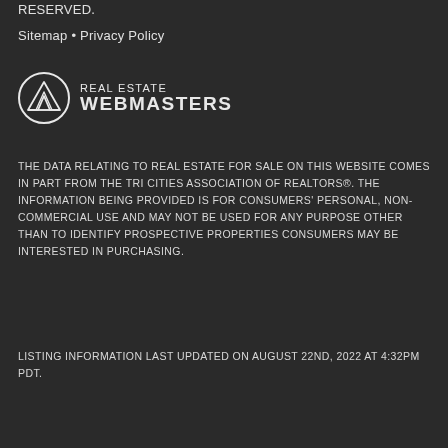RESERVED.
Sitemap • Privacy Policy
[Figure (logo): Real Estate Webmasters logo with mountain/circle icon on left and text 'REAL ESTATE WEBMASTERS' on right]
THE DATA RELATING TO REAL ESTATE FOR SALE ON THIS WEBSITE COMES IN PART FROM THE TRI CITIES ASSOCIATION OF REALTORS®. THE INFORMATION BEING PROVIDED IS FOR CONSUMERS' PERSONAL, NON-COMMERCIAL USE AND MAY NOT BE USED FOR ANY PURPOSE OTHER THAN TO IDENTIFY PROSPECTIVE PROPERTIES CONSUMERS MAY BE INTERESTED IN PURCHASING.
LISTING INFORMATION LAST UPDATED ON AUGUST 22ND, 2022 AT 4:32PM PDT.